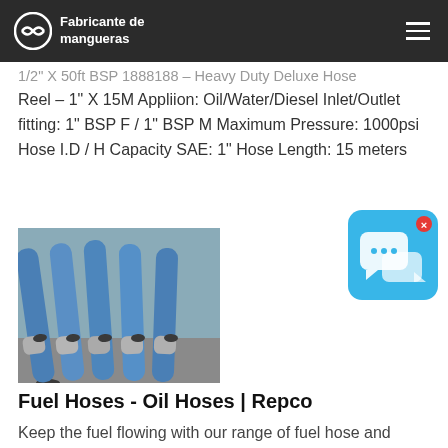Fabricante de mangueras
1/2" X 50ft BSP 1888188 – Heavy Duty Deluxe Hose Reel – 1" X 15M Appliion: Oil/Water/Diesel Inlet/Outlet fitting: 1" BSP F / 1" BSP M Maximum Pressure: 1000psi Hose I.D / H Capacity SAE: 1" Hose Length: 15 meters
[Figure (photo): Blue industrial hoses bundled together with metal fittings on ends, photographed on concrete ground]
[Figure (screenshot): Chat widget popup icon in blue with speech bubble icons and an X close button]
Fuel Hoses - Oil Hoses | Repco
Keep the fuel flowing with our range of fuel hose and connectors. Whether you are needing a new length of